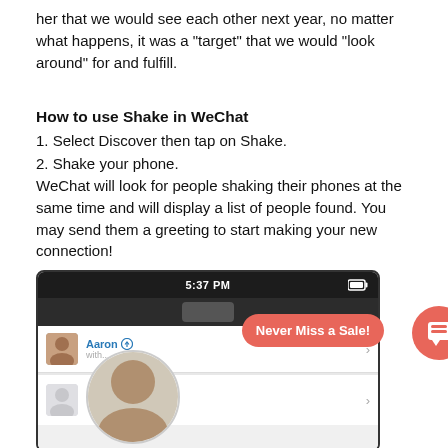her that we would see each other next year, no matter what happens, it was a “target” that we would “look around” for and fulfill.
How to use Shake in WeChat
1. Select Discover then tap on Shake.
2. Shake your phone.
WeChat will look for people shaking their phones at the same time and will display a list of people found. You may send them a greeting to start making your new connection!
[Figure (screenshot): A smartphone screenshot showing a WeChat-style contacts list with time 5:37 PM, two contacts Aaron and Jack (within 1km), and a red 'Never Miss a Sale!' popup bubble with a circular chat icon.]